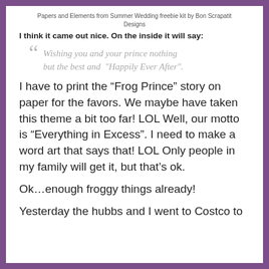Papers and Elements from Summer Wedding freebie kit by Bon Scrapatit Designs
I think it came out nice. On the inside it will say:
“ Wishing you and your prince nothing but the best and “Happily Ever After”.
I have to print the “Frog Prince” story on paper for the favors. We maybe have taken this theme a bit too far! LOL Well, our motto is “Everything in Excess”. I need to make a word art that says that! LOL Only people in my family will get it, but that’s ok.
Ok…enough froggy things already!
Yesterday the hubbs and I went to Costco to